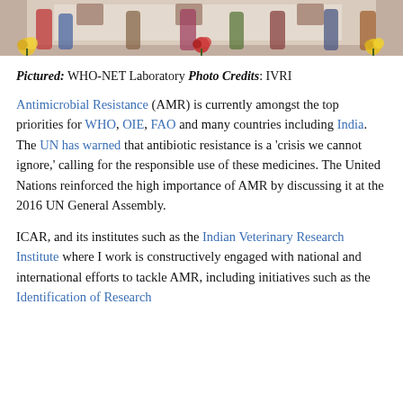[Figure (photo): Partial photo of people standing in front of a decorated backdrop with flowers, bottom portion visible]
Pictured: WHO-NET Laboratory Photo Credits: IVRI
Antimicrobial Resistance (AMR) is currently amongst the top priorities for WHO, OIE, FAO and many countries including India. The UN has warned that antibiotic resistance is a 'crisis we cannot ignore,' calling for the responsible use of these medicines. The United Nations reinforced the high importance of AMR by discussing it at the 2016 UN General Assembly.
ICAR, and its institutes such as the Indian Veterinary Research Institute where I work is constructively engaged with national and international efforts to tackle AMR, including initiatives such as the Identification of Research